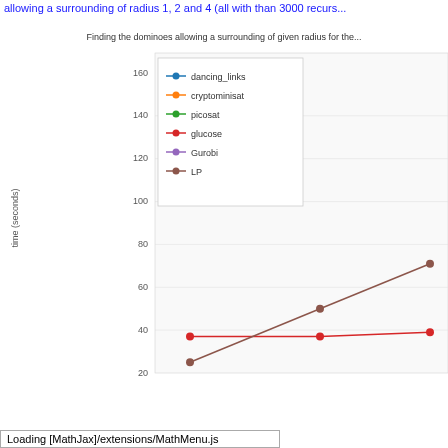allowing a surrounding of radius 1, 2 and 4 (all with than 3000 recurs...
[Figure (line-chart): Finding the dominoes allowing a surrounding of given radius for the...]
Loading [MathJax]/extensions/MathMenu.js